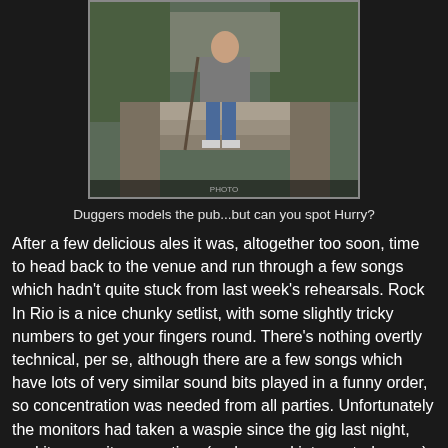[Figure (photo): A person standing on stone steps outside a pub, wearing jeans and a grey hoodie, holding a walking stick. Stone walls and greenery visible in background.]
Duggers models the pub...but can you spot Hurry?
After a few delicious ales it was, altogether too soon, time to head back to the venue and run through a few songs which hadn't quite stuck from last week's rehearsals. Rock In Rio is a nice chunky setlist, with some slightly tricky numbers to get your fingers round. There's nothing overtly technical, per se, although there are a few songs which have lots of very similar sound bits played in a funny order, so concentration was needed from all parties. Unfortunately the monitors had taken a waspie since the gig last night, and it was quite some time (and several interrupted songs) before Duggers had got the levels he needed out of them. We got there in the end though, and after the long soundcheck and lovely